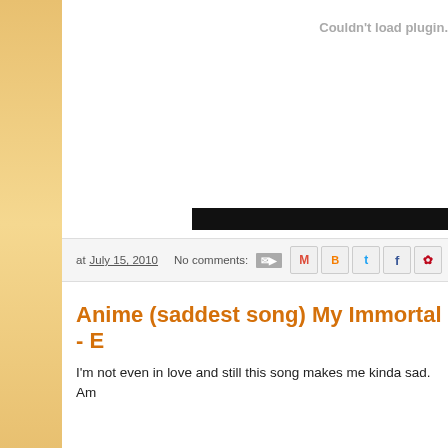Couldn't load plugin.
at July 15, 2010   No comments:
Anime (saddest song) My Immortal - E
I'm not even in love and still this song makes me kinda sad. Am